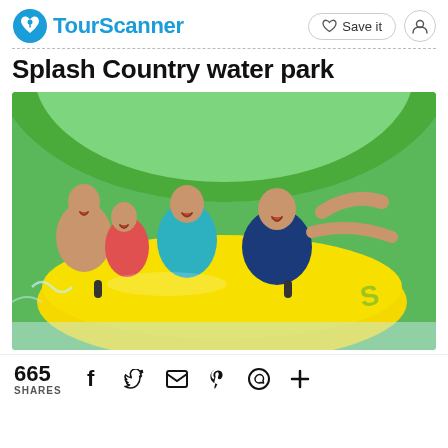TourScanner — Save it | User icon
Splash Country water park
[Figure (photo): Family of four laughing and enjoying a water slide ride on a large yellow inflatable tube inside a bright green water park slide tunnel.]
665 SHARES | Social share icons: Facebook, Twitter, Email, Pinterest, WhatsApp, More